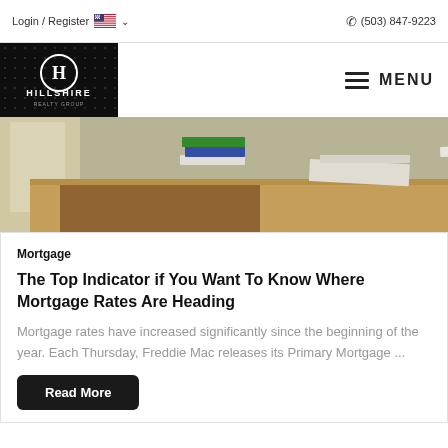Login / Register   (503) 847-9223
[Figure (logo): Hillshire Realty Group logo — black background with dot pattern, circular H emblem, text HILLSHIRE and REALTY GROUP]
[Figure (photo): Office desk scene with books and binders stacked on a wooden counter, a person's hands visible on keyboard in background]
Mortgage
The Top Indicator if You Want To Know Where Mortgage Rates Are Heading
Mortgage rates have increased significantly since the beginning of the year. Each Thursday, Freddie Mac releases its Primary Mortgage ...
Read More